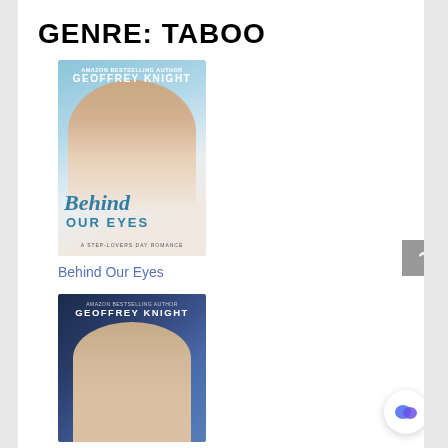GENRE: TABOO
[Figure (illustration): Book cover for 'Behind Our Eyes' by Geoffrey Knight — a step-lovers day romance. Shows a young man with messy hair against a blue background, with teal script title text.]
Behind Our Eyes
[Figure (illustration): Book cover by Geoffrey Knight — Amazon Bestselling Author. Shows a blond man in a tuxedo against a dark blue bokeh background.]